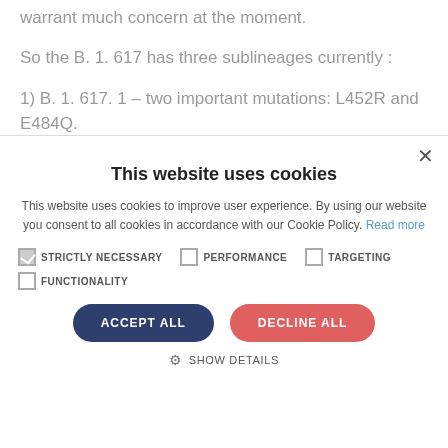warrant much concern at the moment.
So the B. 1. 617 has three sublineages currently :
1) B. 1. 617. 1 – two important mutations: L452R and E484Q.
This website uses cookies
This website uses cookies to improve user experience. By using our website you consent to all cookies in accordance with our Cookie Policy. Read more
STRICTLY NECESSARY   PERFORMANCE   TARGETING
FUNCTIONALITY
ACCEPT ALL   DECLINE ALL
SHOW DETAILS